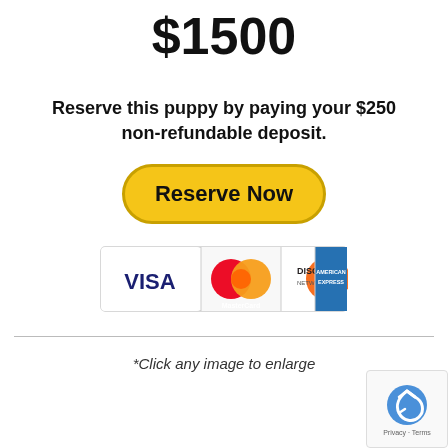$1500
Reserve this puppy by paying your $250 non-refundable deposit.
[Figure (other): Yellow rounded button with text 'Reserve Now']
[Figure (other): Credit card logos: VISA, MasterCard, Discover Network, American Express]
*Click any image to enlarge